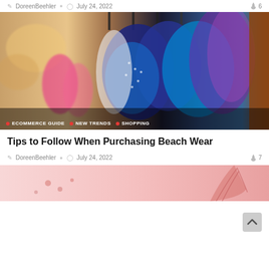DoreenBeehler   July 24, 2022   6
[Figure (photo): Colorful beach wear / swimsuits hanging on a rack in a store, blurred background with warm and cool tones. Tags overlay: ECOMMERCE GUIDE, NEW TRENDS, SHOPPING]
Tips to Follow When Purchasing Beach Wear
DoreenBeehler   July 24, 2022   7
[Figure (photo): Partial view of a pink-toned photo at the bottom of the page, appears to be beach/summer accessories]